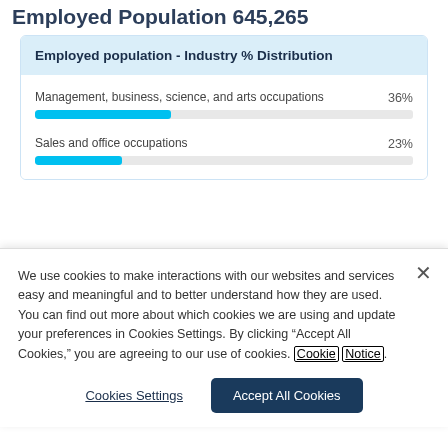Employed Population 645,265
Employed population - Industry % Distribution
[Figure (bar-chart): Employed population - Industry % Distribution]
We use cookies to make interactions with our websites and services easy and meaningful and to better understand how they are used. You can find out more about which cookies we are using and update your preferences in Cookies Settings. By clicking “Accept All Cookies,” you are agreeing to our use of cookies. Cookie Notice.
Cookies Settings
Accept All Cookies